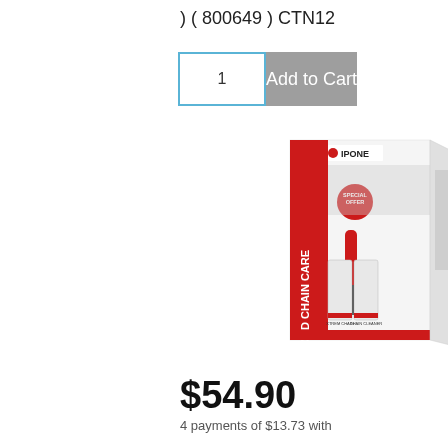) ( 800649 ) CTN12
1   Add to Cart
[Figure (photo): IPONE Off-Road Chain Care product kit box showing chain lubricant spray cans and a brush tool, with SPECIAL OFFER sticker and IPONE branding logo]
$54.90
4 payments of $13.73 with